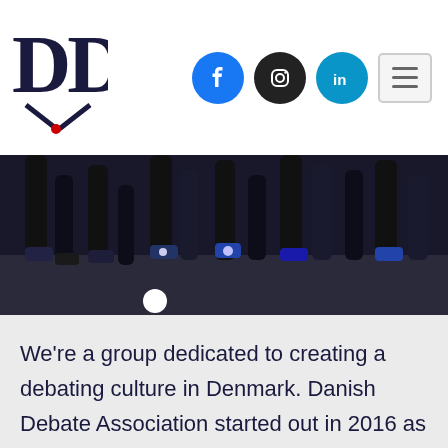[Figure (logo): Danish Debate Association logo — stylized 'DD' letters with a small red dot accent, in dark navy/black serif font]
[Figure (other): Social media icons: Facebook (blue circle with 'f'), Instagram (dark circle with camera icon), LinkedIn (teal circle with 'in'); plus hamburger menu icon on right]
[Figure (photo): Photo showing legs and feet of several people standing, dark background, appears to be students at a debating event. White carousel dot indicator visible at bottom.]
We're a group dedicated to creating a debating culture in Denmark. Danish Debate Association started out in 2016 as the Nordic Schools Debating Championship. We brought over 200 high school students from all over the world to compete in an annual tournament which has since become a…